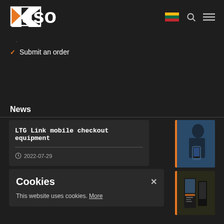RASO logo with navigation icons
. Submit an order
News
LTG Link mobile checkout equipment 2022-07-29
[Figure (photo): Person holding a mobile checkout device]
[Figure (photo): Machine or kiosk equipment in a setting]
Cookies
This website uses cookies. More